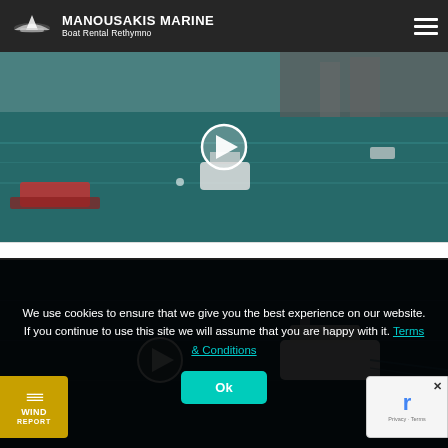MANOUSAKIS MARINE — Boat Rental Rethymno
[Figure (photo): Aerial drone shot of Rethymno harbor with boats on teal water, with a video play button overlay in the center]
[Figure (photo): Aerial drone shot of a white boat on dark teal sea water, with a video play button overlay partially visible]
We use cookies to ensure that we give you the best experience on our website. If you continue to use this site we will assume that you are happy with it. Terms & Conditions
Ok